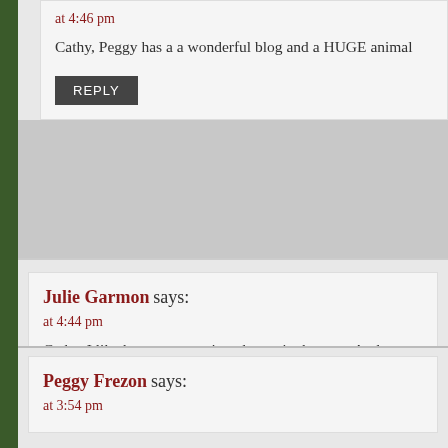at 4:46 pm
Cathy, Peggy has a a wonderful blog and a HUGE animal
REPLY
Julie Garmon says:
at 4:44 pm
Cathy, I like how you mentioned your junk room. And someth acknowledging those junk rooms. We're not leaving them dar
We're calling out fear! We're saying it doesn't have a place in forward. We're getting honest. I really love that in our group.
REPLY
Peggy Frezon says:
at 3:54 pm